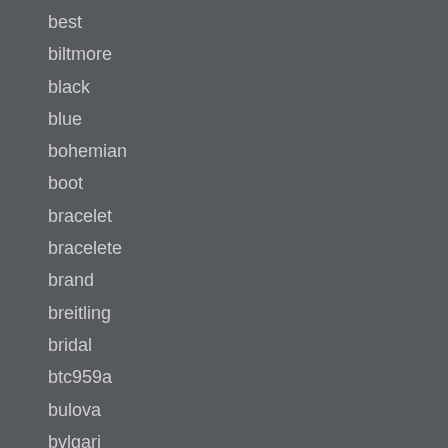best
biltmore
black
blue
bohemian
boot
bracelet
bracelete
brand
breitling
bridal
btc959a
bulova
bvlgari
c1920